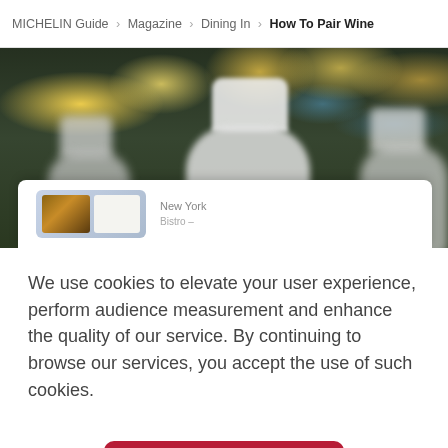MICHELIN Guide > Magazine > Dining In > How To Pair Wine
[Figure (photo): Blurred photo of chefs in white uniforms and tall white hats working in a restaurant kitchen, with warm bokeh lights in the background. A partial white card with a phone/app mockup appears at the bottom of the image.]
We use cookies to elevate your user experience, perform audience measurement and enhance the quality of our service. By continuing to browse our services, you accept the use of such cookies.
Accept